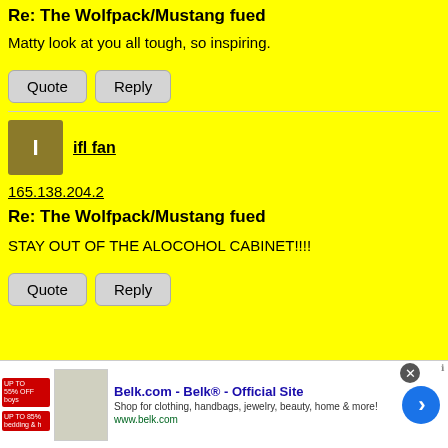Re: The Wolfpack/Mustang fued
Matty look at you all tough, so inspiring.
Quote | Reply
ifl fan
165.138.204.2
Re: The Wolfpack/Mustang fued
STAY OUT OF THE ALOCOHOL CABINET!!!!
Quote | Reply
[Figure (infographic): Belk.com advertisement banner with logo, product images, and arrow button. Text: Belk.com - Belk® - Official Site, Shop for clothing, handbags, jewelry, beauty, home & more!, www.belk.com]